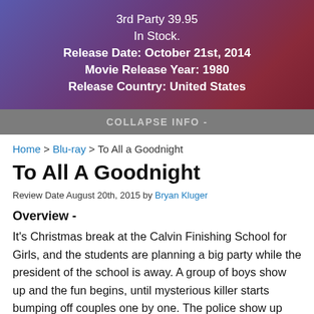3rd Party 39.95
In Stock.
Release Date: October 21st, 2014
Movie Release Year: 1980
Release Country: United States
COLLAPSE INFO -
Home > Blu-ray > To All a Goodnight
To All A Goodnight
Review Date August 20th, 2015 by Bryan Kluger
Overview -
It's Christmas break at the Calvin Finishing School for Girls, and the students are planning a big party while the president of the school is away. A group of boys show up and the fun begins, until mysterious killer starts bumping off couples one by one. The police show up and promise to keep everyone safe, but they prove ineffectual against the crazed psycho. Could the killings have anything to do